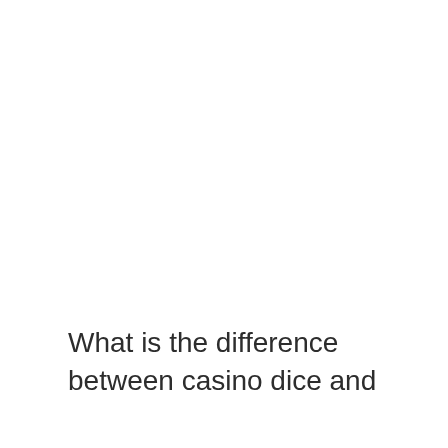What is the difference between casino dice and